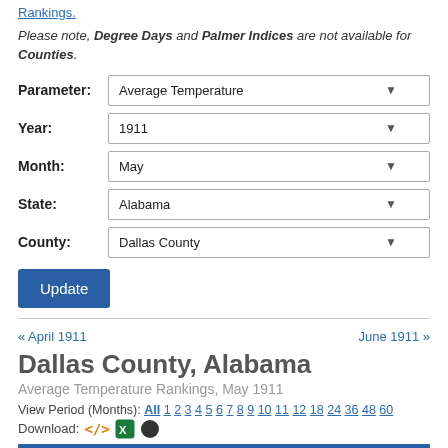Rankings.
Please note, Degree Days and Palmer Indices are not available for Counties.
Parameter: Average Temperature
Year: 1911
Month: May
State: Alabama
County: Dallas County
Update
« April 1911
June 1911 »
Dallas County, Alabama
Average Temperature Rankings, May 1911
View Period (Months): All 1 2 3 4 5 6 7 8 9 10 11 12 18 24 36 48 60
Download: